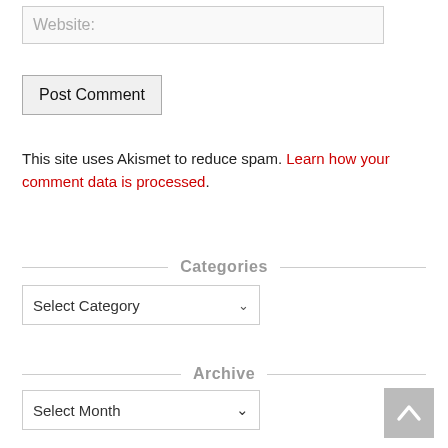Website:
Post Comment
This site uses Akismet to reduce spam. Learn how your comment data is processed.
Categories
Select Category
Archive
Select Month
[Figure (other): Back to top button arrow]